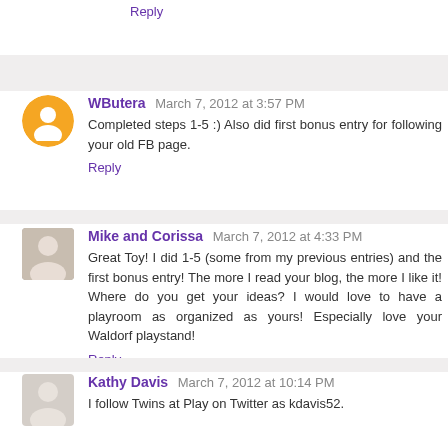Reply
WButera  March 7, 2012 at 3:57 PM
Completed steps 1-5 :) Also did first bonus entry for following your old FB page.
Reply
Mike and Corissa  March 7, 2012 at 4:33 PM
Great Toy! I did 1-5 (some from my previous entries) and the first bonus entry! The more I read your blog, the more I like it! Where do you get your ideas? I would love to have a playroom as organized as yours! Especially love your Waldorf playstand!
Reply
Kathy Davis  March 7, 2012 at 10:14 PM
I follow Twins at Play on Twitter as kdavis52.